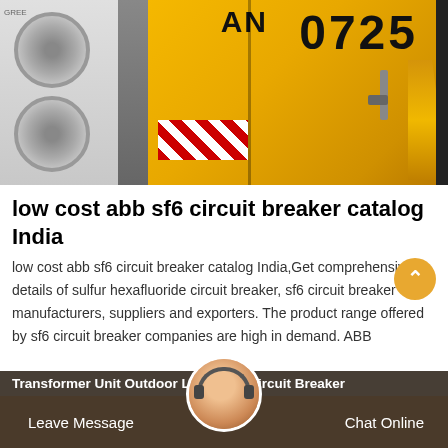[Figure (photo): Outdoor industrial equipment showing yellow shipping/transformer containers and white AC units on the left side. Numbers '0725' visible on the yellow container.]
low cost abb sf6 circuit breaker catalog India
low cost abb sf6 circuit breaker catalog India,Get comprehensive details of sulfur hexafluoride circuit breaker, sf6 circuit breaker manufacturers, suppliers and exporters. The product range offered by sf6 circuit breaker companies are high in demand. ABB
Transformer Unit Outdoor Li... Sf6 Circuit Breaker
Leave Message   Chat Online